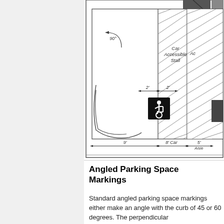[Figure (engineering-diagram): Architectural/engineering diagram showing an angled parking space layout with dimensions. Shows a car accessible stall with 90-degree angle indicator, dimensions of 9', 8' Car, 5' Aisle, and 2' markings. Includes a wheelchair accessibility symbol (ISA) in the car stall, hatched aisle area, and a dark block at top. Partially cropped on right side.]
Angled Parking Space Markings
Standard angled parking space markings either make an angle with the curb of 45 or 60 degrees. The perpendicular